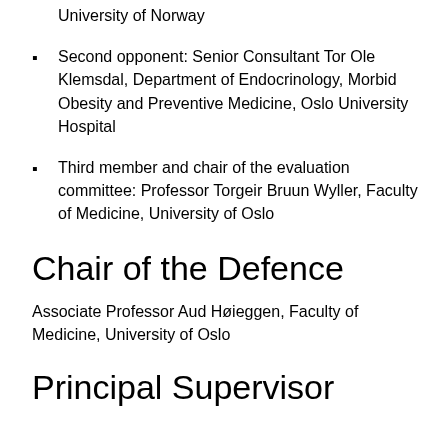University of Norway
Second opponent: Senior Consultant Tor Ole Klemsdal, Department of Endocrinology, Morbid Obesity and Preventive Medicine, Oslo University Hospital
Third member and chair of the evaluation committee: Professor Torgeir Bruun Wyller, Faculty of Medicine, University of Oslo
Chair of the Defence
Associate Professor Aud Høieggen, Faculty of Medicine, University of Oslo
Principal Supervisor